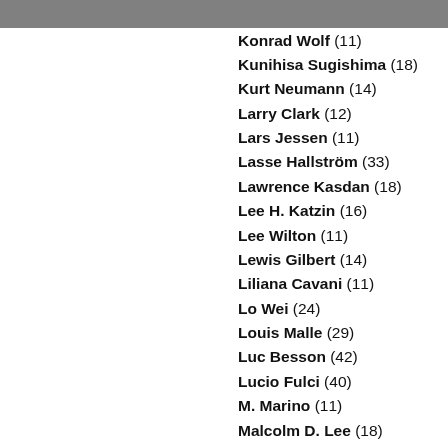Konrad Wolf (11)
Kunihisa Sugishima (18)
Kurt Neumann (14)
Larry Clark (12)
Lars Jessen (11)
Lasse Hallström (33)
Lawrence Kasdan (18)
Lee H. Katzin (16)
Lee Wilton (11)
Lewis Gilbert (14)
Liliana Cavani (11)
Lo Wei (24)
Louis Malle (29)
Luc Besson (42)
Lucio Fulci (40)
M. Marino (11)
Malcolm D. Lee (18)
Manfred Hanus (28)
Marc Forster (21)